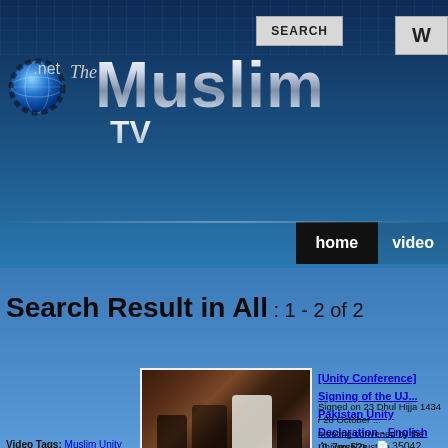The Muslim.net TV — SEARCH W
[Figure (screenshot): TheMuslimTV.net logo with globe icon and metallic Muslim lettering]
Search Result in All : 1 - 2 of 2
[Figure (photo): Photo thumbnail of men in Islamic attire seated at a table for signing ceremony]
[Unity Conference] Signing of the UJ... Pakistan Unity Declaration - English
Signed on 23 Dhul Hijja 1434 / 28 October ... meeting convened by the Universal Justice... This is the link to the UJN Press...
More...
7m:52s   35042
Video Tags: Muslim Unity Conference Shia Sunni Unity Wahda... signing of UJN Pakistan Unity Declaration Sunni itehad Counc...
[Unity Conference] Azan and Du...